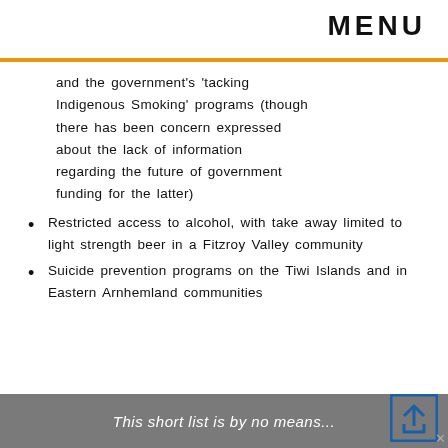MENU
and the government's ‘tacking Indigenous Smoking’ programs (though there has been concern expressed about the lack of information regarding the future of government funding for the latter)
Restricted access to alcohol, with take away limited to light strength beer in a Fitzroy Valley community
Suicide prevention programs on the Tiwi Islands and in Eastern Arnhemland communities
This short list is by no means...